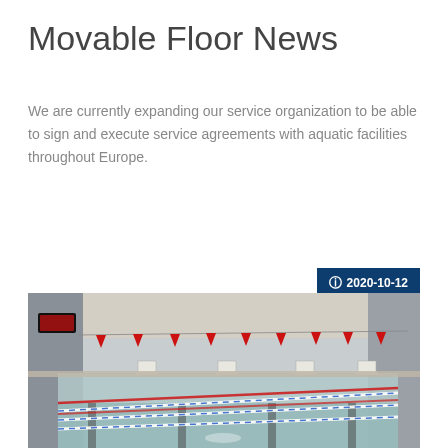Movable Floor News
We are currently expanding our service organization to be able to sign and execute service agreements with aquatic facilities throughout Europe.
Read more
© 2020-10-12
[Figure (photo): Indoor swimming pool with lane dividers (blue and white rope lanes), red triangular flags strung above the pool, starting blocks along the edge, and a movable floor visible beneath the water surface. The pool is empty of swimmers and the facility has large windows and modern finishes.]